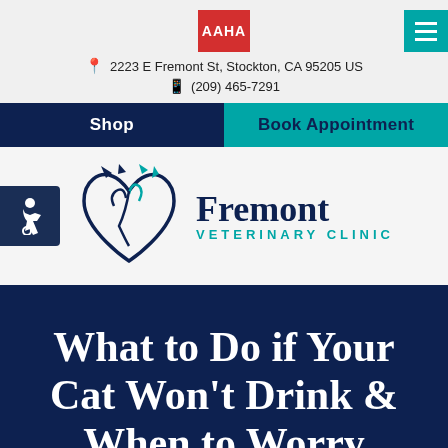[Figure (logo): AAHA logo (red background, white text) and hamburger menu button (teal) in top header]
2223 E Fremont St, Stockton, CA 95205 US
(209) 465-7291
Shop
Book Appointment
[Figure (logo): Fremont Veterinary Clinic logo with heart/cat/dog graphic and clinic name text]
What to Do if Your Cat Won't Drink & When to Worry